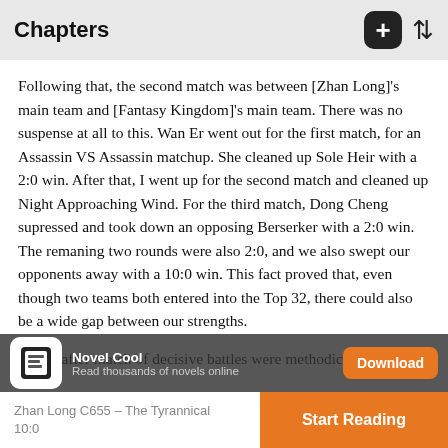Chapters
Following that, the second match was between [Zhan Long]'s main team and [Fantasy Kingdom]'s main team. There was no suspense at all to this. Wan Er went out for the first match, for an Assassin VS Assassin matchup. She cleaned up Sole Heir with a 2:0 win. After that, I went up for the second match and cleaned up Night Approaching Wind. For the third match, Dong Cheng supressed and took down an opposing Berserker with a 2:0 win. The remaning two rounds were also 2:0, and we also swept our opponents away with a 10:0 win. This fact proved that, even though two teams both entered into the Top 32, there could also be a wide gap between our strengths.
Match after match of decisive battles were methodically carried out. Q-Sword's team overcame their opponents with a 4:1 score; Jian Feng Han's team swept their opponents with a 5:0 win; Yan Zhao Warrior's team got a big victory with a 4:1 score. As for [Long]'s teams, team Li Mu got a big victory score; Team Wolf got a risky win with a 3:2 score. Meng Yao
[Figure (screenshot): Novel Cool app download banner overlay with book icon, app name 'Novel Cool', tagline 'Read thousands of novels online', and orange Download button]
Zhan Long C655 – The Tyrannical 10:0 | Start Reading